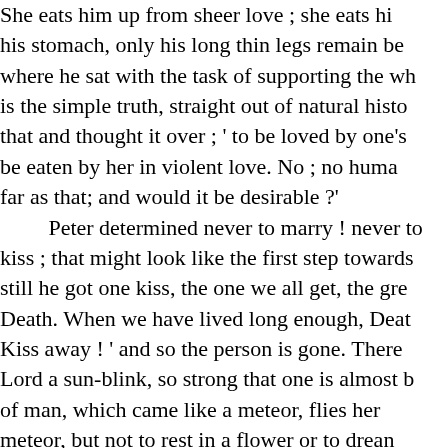She eats him up from sheer love ; she eats his stomach, only his long thin legs remain be where he sat with the task of supporting the wh is the simple truth, straight out of natural histo that and thought it over ; ' to be loved by one's be eaten by her in violent love. No ; no huma far as that; and would it be desirable ?'

Peter determined never to marry ! never to kiss ; that might look like the first step towards still he got one kiss, the one we all get, the gre Death. When we have lived long enough, Deat Kiss away ! ' and so the person is gone. There Lord a sun-blink, so strong that one is almost b of man, which came like a meteor, flies her meteor, but not to rest in a flower or to drean lily leaf. It has more important things before it great land of Eternity, but how things are there, like, no one can tell. No one has seen into it, no however far he can see, and however much he did he know any more about Peterkin, thou Peter and Pete ; but I have heard enough abo have you ; so I said ' Thanks ' to the stork fo